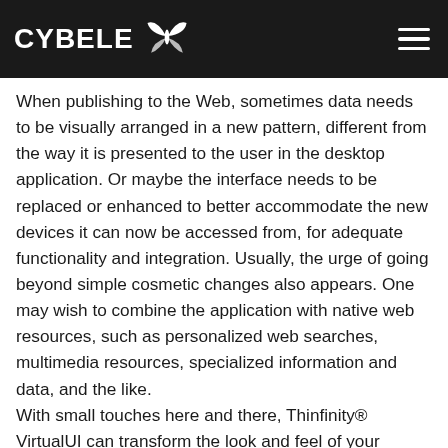CYBELE
When publishing to the Web, sometimes data needs to be visually arranged in a new pattern, different from the way it is presented to the user in the desktop application. Or maybe the interface needs to be replaced or enhanced to better accommodate the new devices it can now be accessed from, for adequate functionality and integration. Usually, the urge of going beyond simple cosmetic changes also appears. One may wish to combine the application with native web resources, such as personalized web searches, multimedia resources, specialized information and data, and the like. With small touches here and there, Thinfinity® VirtualUI can transform the look and feel of your traditional application to offer your users a brand new experience.